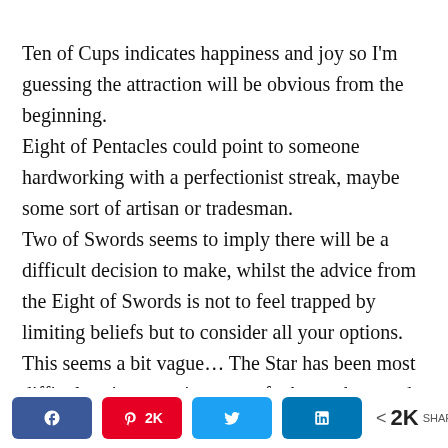Ten of Cups indicates happiness and joy so I'm guessing the attraction will be obvious from the beginning. Eight of Pentacles could point to someone hardworking with a perfectionist streak, maybe some sort of artisan or tradesman. Two of Swords seems to imply there will be a difficult decision to make, whilst the advice from the Eight of Swords is not to feel trapped by limiting beliefs but to consider all your options. This seems a bit vague… The Star has been most difficult to interpret in terms of when, where and how… But it represents Aquarius, so perhaps between 20th Jan – 18th Feb. Or once a particular goal has been achieved. As to where and
Facebook | Pinterest 2K | Twitter | LinkedIn | < 2K SHARES